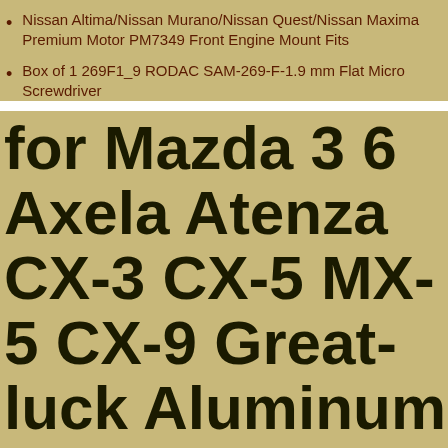Nissan Altima/Nissan Murano/Nissan Quest/Nissan Maxima Premium Motor PM7349 Front Engine Mount Fits
Box of 1 269F1_9 RODAC SAM-269-F-1.9 mm Flat Micro Screwdriver
for Mazda 3 6 Axela Atenza CX-3 CX-5 MX-5 CX-9 Great-luck Aluminum Steering Wheel Paddle
Wir verwenden Cookies, um sicherzustellen, dass Sie unsere Website optimal nutzen können. Wenn Sie diese Website weiterhin nutzen, gehen wir davon aus, dass Sie damit zufrieden sind.
Annehmen  Nein  Datenschutz